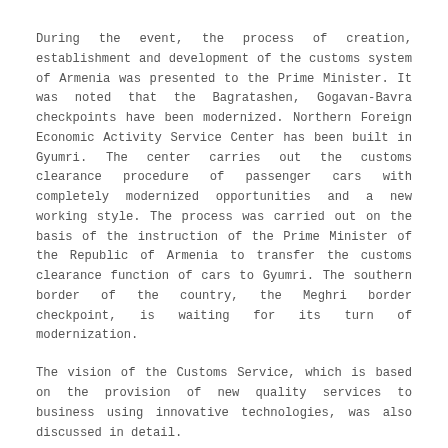During the event, the process of creation, establishment and development of the customs system of Armenia was presented to the Prime Minister. It was noted that the Bagratashen, Gogavan-Bavra checkpoints have been modernized. Northern Foreign Economic Activity Service Center has been built in Gyumri. The center carries out the customs clearance procedure of passenger cars with completely modernized opportunities and a new working style. The process was carried out on the basis of the instruction of the Prime Minister of the Republic of Armenia to transfer the customs clearance function of cars to Gyumri. The southern border of the country, the Meghri border checkpoint, is waiting for its turn of modernization.
The vision of the Customs Service, which is based on the provision of new quality services to business using innovative technologies, was also discussed in detail.